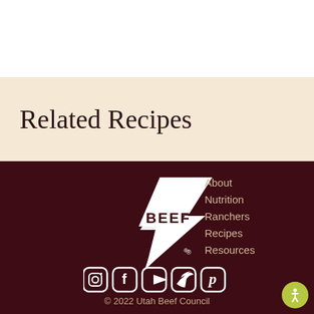Related Recipes
[Figure (logo): Beef checkmark logo with text BEEF and stylized checkmark]
About
Nutrition
Ranchers
Recipes
Resources
[Figure (illustration): Social media icons: Instagram, Facebook, YouTube, Twitter, Pinterest]
© 2022 Utah Beef Council